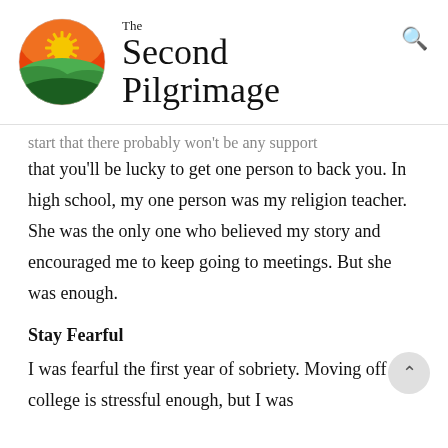[Figure (logo): The Second Pilgrimage logo — circular badge with landscape scene: orange/red sunset sky, yellow sun with rays, rolling green hills, and dark green foreground hills]
The Second Pilgrimage
start that there probably won't be any support that you'll be lucky to get one person to back you. In high school, my one person was my religion teacher. She was the only one who believed my story and encouraged me to keep going to meetings. But she was enough.
Stay Fearful
I was fearful the first year of sobriety. Moving off to college is stressful enough, but I was